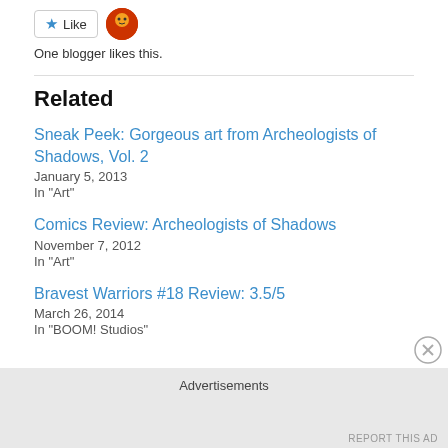[Figure (other): Like button with blue star icon and a small avatar thumbnail of a cartoon character]
One blogger likes this.
Related
Sneak Peek: Gorgeous art from Archeologists of Shadows, Vol. 2
January 5, 2013
In "Art"
Comics Review: Archeologists of Shadows
November 7, 2012
In "Art"
Bravest Warriors #18 Review: 3.5/5
March 26, 2014
In "BOOM! Studios"
Advertisements